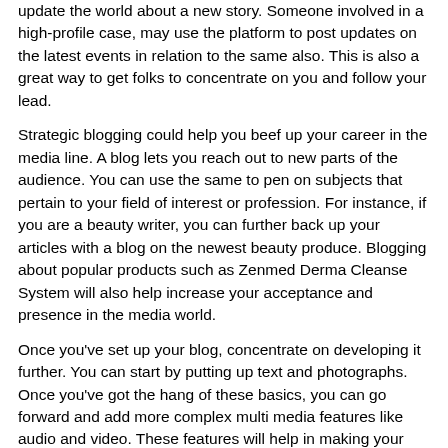update the world about a new story. Someone involved in a high-profile case, may use the platform to post updates on the latest events in relation to the same also. This is also a great way to get folks to concentrate on you and follow your lead.
Strategic blogging could help you beef up your career in the media line. A blog lets you reach out to new parts of the audience. You can use the same to pen on subjects that pertain to your field of interest or profession. For instance, if you are a beauty writer, you can further back up your articles with a blog on the newest beauty produce. Blogging about popular products such as Zenmed Derma Cleanse System will also help increase your acceptance and presence in the media world.
Once you've set up your blog, concentrate on developing it further. You can start by putting up text and photographs. Once you've got the hang of these basics, you can go forward and add more complex multi media features like audio and video. These features will help in making your blog more interactive and also add to your tech abilities. Moreover, if you are a newspaper reporter, you can use these newly bought talents to edit videos and posts. But since blogging is just an web activity ; you should take good care to guard your PC from a pathogen attack, a